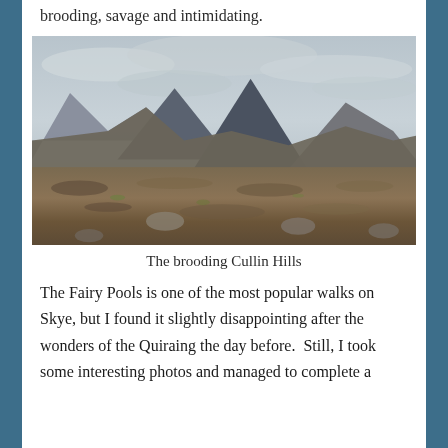brooding, savage and intimidating.
[Figure (photo): Landscape photograph of the Cullin Hills on the Isle of Skye showing dramatic mountain peaks under a cloudy grey sky with brown moorland and rocky terrain in the foreground.]
The brooding Cullin Hills
The Fairy Pools is one of the most popular walks on Skye, but I found it slightly disappointing after the wonders of the Quiraing the day before.  Still, I took some interesting photos and managed to complete a